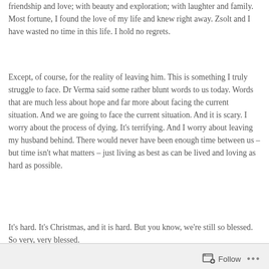friendship and love; with beauty and exploration; with laughter and family. Most fortune, I found the love of my life and knew right away. Zsolt and I have wasted no time in this life. I hold no regrets.
Except, of course, for the reality of leaving him. This is something I truly struggle to face. Dr Verma said some rather blunt words to us today. Words that are much less about hope and far more about facing the current situation. And we are going to face the current situation. And it is scary. I worry about the process of dying. It's terrifying. And I worry about leaving my husband behind. There would never have been enough time between us – but time isn't what matters – just living as best as can be lived and loving as hard as possible.
It's hard. It's Christmas, and it is hard. But you know, we're still so blessed. So very, very blessed.
Follow